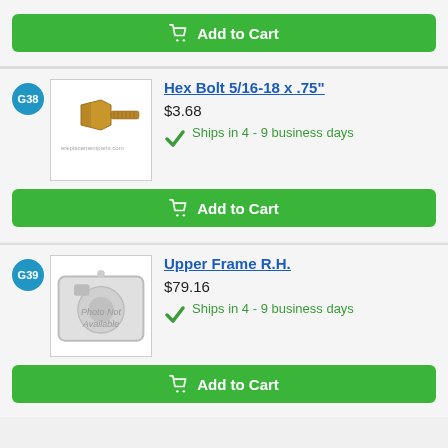[Figure (other): Add to Cart button (partial top card)]
G38
[Figure (photo): Hex bolt image - gold/brass colored hex bolt]
Hex Bolt 5/16-18 x .75"
$3.68
Ships in 4 - 9 business days
[Figure (other): Add to Cart button]
G39
[Figure (photo): Photo Not Available placeholder image]
Upper Frame R.H.
$79.16
Ships in 4 - 9 business days
[Figure (other): Add to Cart button (partial bottom)]